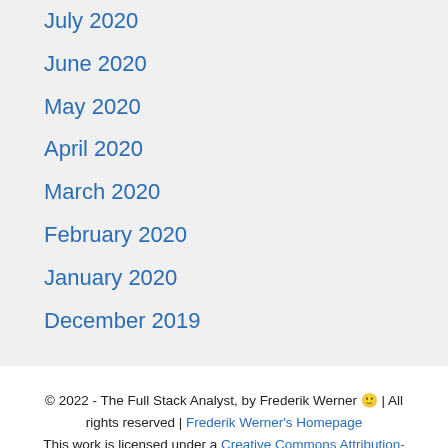July 2020
June 2020
May 2020
April 2020
March 2020
February 2020
January 2020
December 2019
© 2022 - The Full Stack Analyst, by Frederik Werner 🙂 | All rights reserved | Frederik Werner's Homepage
This work is licensed under a Creative Commons Attribution-ShareAlike 4.0 International License.
LinkedIn | Twitter | Adobe Analytics Log Parser | RSS Feed